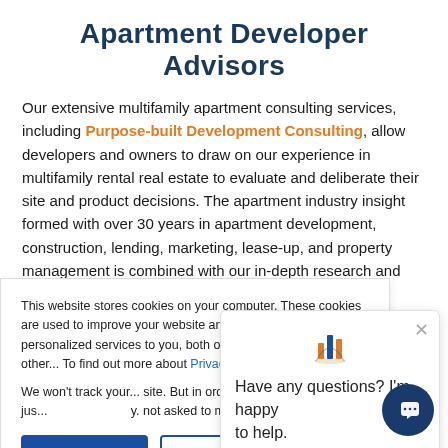Apartment Developer Advisors
Our extensive multifamily apartment consulting services, including Purpose-built Development Consulting, allow developers and owners to draw on our experience in multifamily rental real estate to evaluate and deliberate their site and product decisions. The apartment industry insight formed with over 30 years in apartment development, construction, lending, marketing, lease-up, and property management is combined with our in-depth research and
This website stores cookies on your computer. These cookies are used to improve your website and provide more personalized services to you, both on this website and through other... To find out more about Privacy Policy.
We won't track your ... site. But in order to ... we'll have to use jus... not asked to make this choice again.
Have any questions? I'm happy to help.